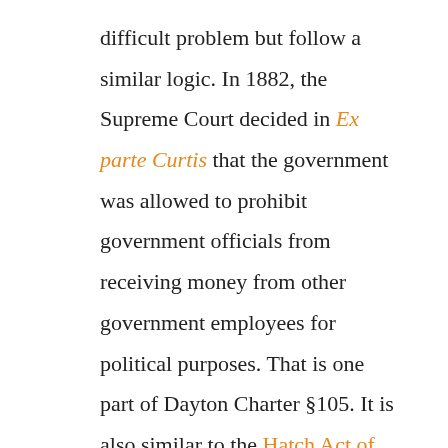difficult problem but follow a similar logic. In 1882, the Supreme Court decided in Ex parte Curtis that the government was allowed to prohibit government officials from receiving money from other government employees for political purposes. That is one part of Dayton Charter §105. It is also similar to the Hatch Act of 1939, which limited federal employees' abilities to work on political campaigns or raise money for candidates. In 1940 the Hatch Act was expanded to include local government employees who receive federal funding. In the